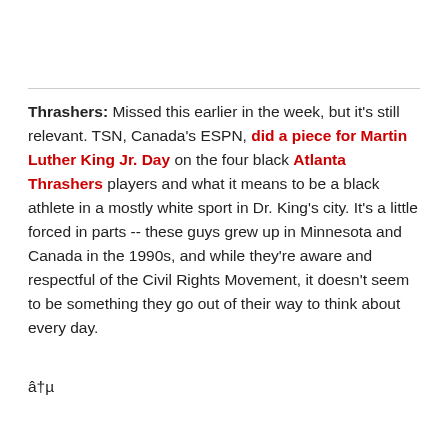Thrashers: Missed this earlier in the week, but it's still relevant. TSN, Canada's ESPN, did a piece for Martin Luther King Jr. Day on the four black Atlanta Thrashers players and what it means to be a black athlete in a mostly white sport in Dr. King's city. It's a little forced in parts -- these guys grew up in Minnesota and Canada in the 1990s, and while they're aware and respectful of the Civil Rights Movement, it doesn't seem to be something they go out of their way to think about every day.
â†µ